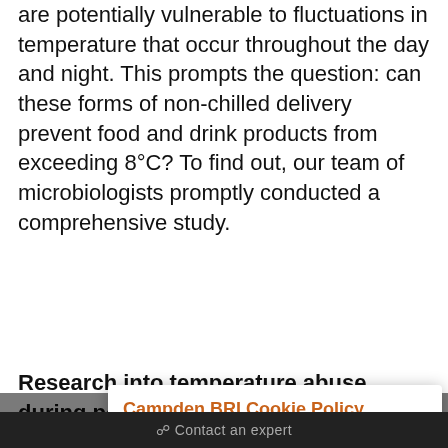are potentially vulnerable to fluctuations in temperature that occur throughout the day and night. This prompts the question: can these forms of non-chilled delivery prevent food and drink products from exceeding 8°C? To find out, our team of microbiologists promptly conducted a comprehensive study.
Research into temperature abuse during postal delivery
The meals were prepared as chilled ready meals were placed in bubble wrap packs and bubble wrap bags at temperatures mimicking non-chilled delivery.
From beef stew to vegetable bake, each box of ready meals was subjected to one of three different temperature food delivery.
[Figure (screenshot): Cookie consent popup overlay for Campden BRI website. Title: 'Campden BRI Cookie Policy' in orange/brown. Body text explains use of first party cookies and offers link to change settings. Green 'Accept' button at bottom right.]
Contact an expert